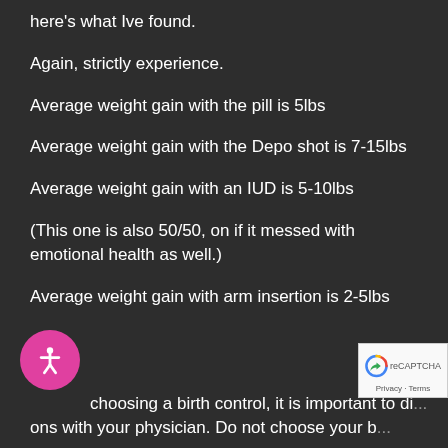here's what Ive found.
Again, strictly experience.
Average weight gain with the pill is 5lbs
Average weight gain with the Depo shot is 7-15lbs
Average weight gain with an IUD is 5-10lbs
(This one is also 50/50, on if it messed with emotional health as well.)
Average weight gain with arm insertion is 2-5lbs
choosing a birth control, it is important to di... ns with your physician. Do not choose your b...